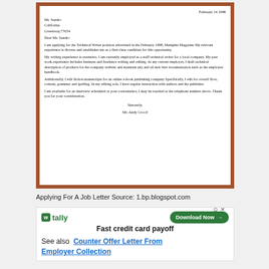February 14 1998
Mr. Sandro
California
Greenway, 77654
Dear Mr. Sandro
I am applying for the Technical Writer position advertised in the February 1998, Memphis Magazine My relevant experience is diverse and establishes me as a first-class candidate for this opportunity.
My writing experience is extensive. I am currently employed as a staff technical writer for a local company. My past work experience includes business and freelance writing and editing. At my current employer, I draft technical description of products for the company website and maintain any and all new hire documentation such as the employee handbook.
Additionally, I edit fiction manuscripts for an online e-book publishing company Specifically, I edit for overall flow, content, grammar and spelling. In my editing role, I have regular interaction with authors and the publisher.
I am available for an interview scheduled at your convenience, I may be reached at the telephone number above. Thank you for your consideration.
Sincerely,
Mr. Andy Crooll
Applying For A Job Letter Source: 1.bp.blogspot.com
[Figure (other): Tally app advertisement: Fast credit card payoff, Download Now button]